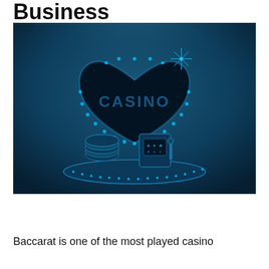Business
[Figure (photo): Casino themed image with a glowing neon heart shape displaying the word CASINO, casino chips stacked on the left, a slot machine on the right, on a circular lit platform, dark blue background with spotlight lighting]
Baccarat is one of the most played casino